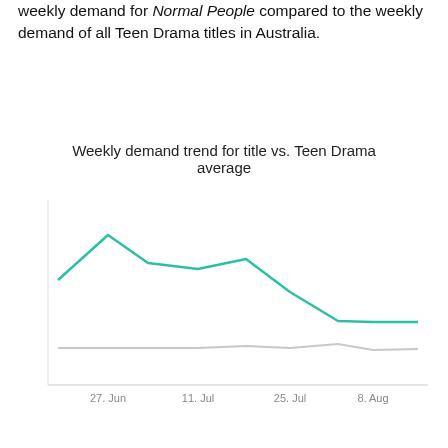weekly demand for Normal People compared to the weekly demand of all Teen Drama titles in Australia.
[Figure (line-chart): Weekly demand trend for title vs. Teen Drama average]